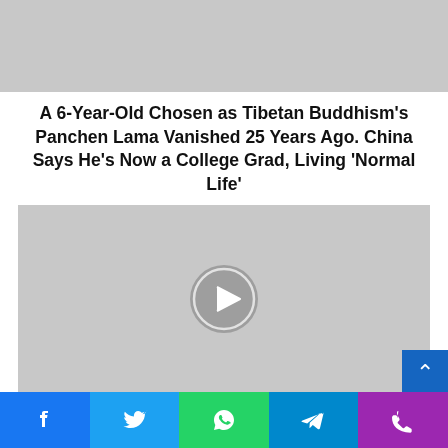[Figure (photo): Gray placeholder image at top of page]
A 6-Year-Old Chosen as Tibetan Buddhism's Panchen Lama Vanished 25 Years Ago. China Says He's Now a College Grad, Living 'Normal Life'
[Figure (other): Gray video player placeholder with circular play button in center]
Google Cloud earns defense contract win for Anthos multi-cloud management tool